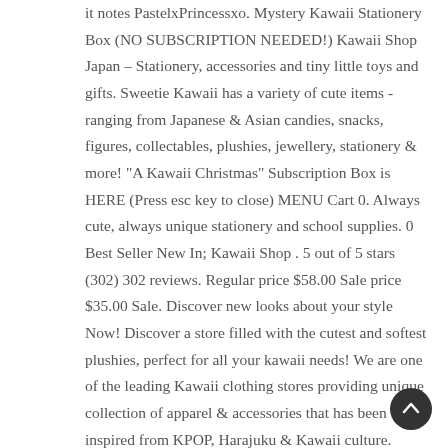it notes PastelxPrincessxo. Mystery Kawaii Stationery Box (NO SUBSCRIPTION NEEDED!) Kawaii Shop Japan – Stationery, accessories and tiny little toys and gifts. Sweetie Kawaii has a variety of cute items - ranging from Japanese & Asian candies, snacks, figures, collectables, plushies, jewellery, stationery & more! "A Kawaii Christmas" Subscription Box is HERE (Press esc key to close) MENU Cart 0. Always cute, always unique stationery and school supplies. 0 Best Seller New In; Kawaii Shop . 5 out of 5 stars (302) 302 reviews. Regular price $58.00 Sale price $35.00 Sale. Discover new looks about your style Now! Discover a store filled with the cutest and softest plushies, perfect for all your kawaii needs! We are one of the leading Kawaii clothing stores providing unique collection of apparel & accessories that has been inspired from KPOP, Harajuku & Kawaii culture. £2.99. 862596192. $50.00 USD "For My Beloved" Gift Card. Shop our
[Figure (other): Dark circular scroll-to-top button with upward arrow icon]